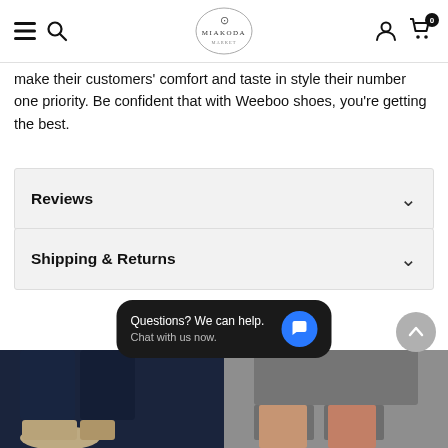MIAKODA — navigation bar with menu, search, logo, account, cart (0)
make their customers' comfort and taste in style their number one priority. Be confident that with Weeboo shoes, you're getting the best.
Reviews
Shipping & Returns
Related Products
[Figure (photo): Left product image: dark navy jeans with light beige shoe at bottom, cropped lower half view]
[Figure (photo): Right product image: grey/charcoal skirt or shorts with tan/skin-toned legs visible, cropped lower half view]
Questions? We can help. Chat with us now.